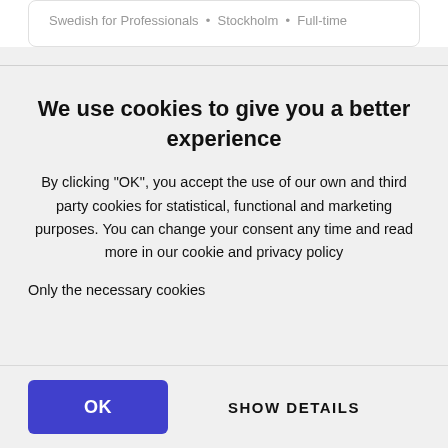Swedish for Professionals • Stockholm • Full-time
We use cookies to give you a better experience
By clicking "OK", you accept the use of our own and third party cookies for statistical, functional and marketing purposes. You can change your consent any time and read more in our cookie and privacy policy
Only the necessary cookies
OK
SHOW DETAILS